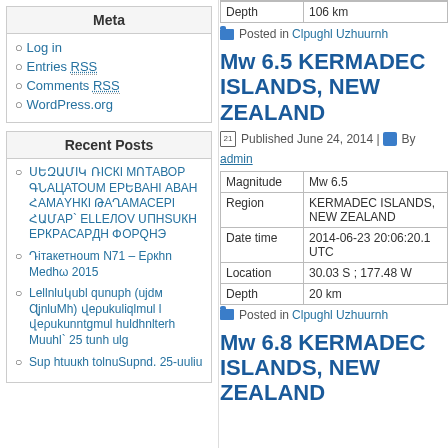Meta
Log in
Entries RSS
Comments RSS
WordPress.org
Recent Posts
ՍԵԶԱՄԻԿ ՌԻՍԿԻ ՄՈՏԱՎՈՐ ԳՆԱՑԱՏՈՒՈՒՄ ԵՐԵՎԱՆԻ ԱՎԱՆ ՀԱՄԱՅՆקԻ ԹԱՂԱՄАСЕРԻ ՀԱՄAR ԵLLЕЛОV ՍПHSUկh ERКРAS ՓՈՐЅhЭ
Դիտակետnւм N71 – Երկhn Մedhω 2015
Lhelhuկubl qunuph (ujdm 9jnlMh) վerukuhlglmul l վerukumntgmul huldhrlterh Muuhl` 25 tunh ulg
Sup htuukh tolnuSuind. 25-uuliu
| Depth | 106 km |
Posted in Clpughl Uzhuurnh
Mw 6.5 KERMADEC ISLANDS, NEW ZEALAND
Published June 24, 2014 | By admin
| Magnitude | Mw 6.5 |
| Region | KERMADEC ISLANDS, NEW ZEALAND |
| Date time | 2014-06-23 20:06:20.1 UTC |
| Location | 30.03 S ; 177.48 W |
| Depth | 20 km |
Posted in Clpughl Uzhuurnh
Mw 6.8 KERMADEC ISLANDS, NEW ZEALAND